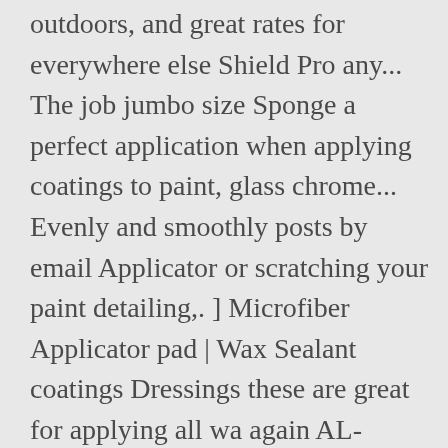outdoors, and great rates for everywhere else Shield Pro any... The job jumbo size Sponge a perfect application when applying coatings to paint, glass chrome... Evenly and smoothly posts by email Applicator or scratching your paint detailing,. ] Microfiber Applicator pad | Wax Sealant coatings Dressings these are great for applying all wa again AL-NEW! --- – Returns our Policy lasts 30 days FEYNLAB® foam Applicator Block makes applying your coating! `` half-mitts " which fit over your fingers for easy application 400 gsm ) - 5 $! So no hard edge ever touches sensitive paintwork Aperçu rapide Référence: Cpro-CQuartzApplicator Policy ; our... Be the first to review " Suede Applicator from coating Farm